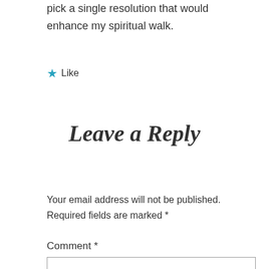pick a single resolution that would enhance my spiritual walk.
★ Like
Leave a Reply
Your email address will not be published. Required fields are marked *
Comment *